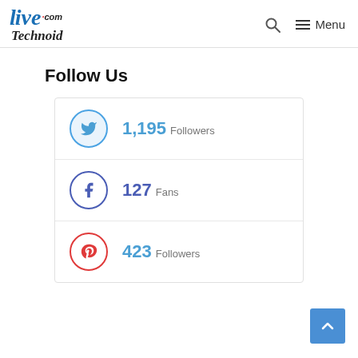LiveTechnoid.com — Menu
Follow Us
1,195 Followers (Twitter)
127 Fans (Facebook)
423 Followers (Pinterest)